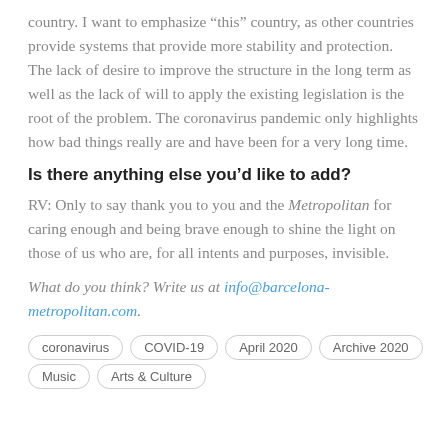country. I want to emphasize “this” country, as other countries provide systems that provide more stability and protection. The lack of desire to improve the structure in the long term as well as the lack of will to apply the existing legislation is the root of the problem. The coronavirus pandemic only highlights how bad things really are and have been for a very long time.
Is there anything else you’d like to add?
RV: Only to say thank you to you and the Metropolitan for caring enough and being brave enough to shine the light on those of us who are, for all intents and purposes, invisible.
What do you think? Write us at info@barcelona-metropolitan.com.
coronavirus
COVID-19
April 2020
Archive 2020
Music
Arts & Culture